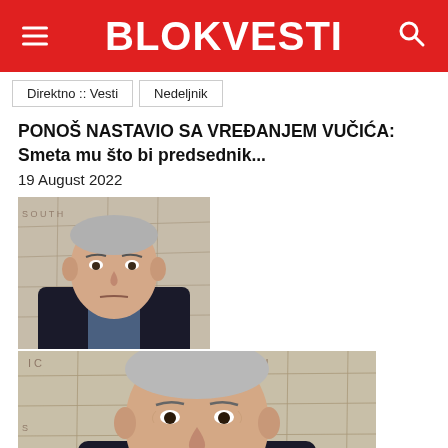BLOKVESTI
Direktno :: Vesti   Nedeljnik
PONOŠ NASTAVIO SA VREĐANJEM VUČIĆA: Smeta mu što bi predsednik...
19 August 2022
[Figure (photo): Photo of a man (Ponoš) seated in front of a world map background, looking seriously at the camera. He is wearing a dark jacket.]
[Figure (photo): Larger photo of the same man, closer up, in front of a world map background showing parts of South America and Atlantic Ocean. He is wearing a dark jacket.]